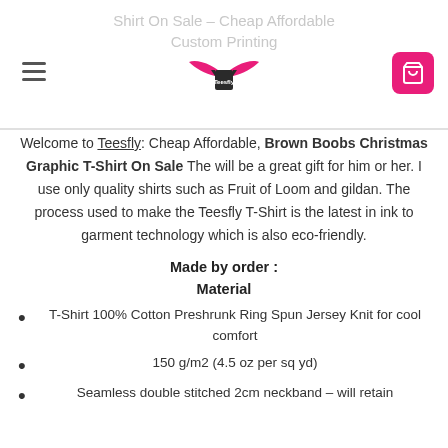Shirt On Sale – Cheap Affordable Custom Printing
Welcome to Teesfly: Cheap Affordable, Brown Boobs Christmas Graphic T-Shirt On Sale The will be a great gift for him or her. I use only quality shirts such as Fruit of Loom and gildan. The process used to make the Teesfly T-Shirt is the latest in ink to garment technology which is also eco-friendly.
Made by order :
Material
T-Shirt 100% Cotton Preshrunk Ring Spun Jersey Knit for cool comfort
150 g/m2 (4.5 oz per sq yd)
Seamless double stitched 2cm neckband – will retain